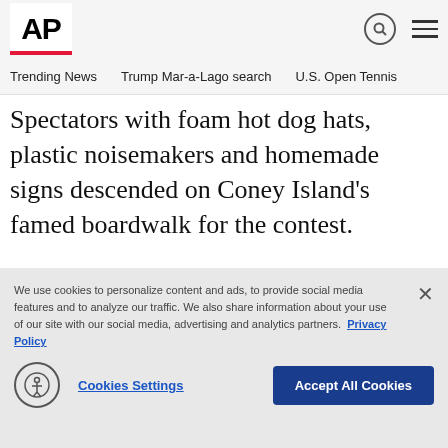AP
Trending News  Trump Mar-a-Lago search  U.S. Open Tennis
Spectators with foam hot dog hats, plastic noisemakers and homemade signs descended on Coney Island's famed boardwalk for the contest.
[Figure (screenshot): Advertisement banner with AP logo and purple dotted pattern background]
We use cookies to personalize content and ads, to provide social media features and to analyze our traffic. We also share information about your use of our site with our social media, advertising and analytics partners.  Privacy Policy
Cookies Settings  Accept All Cookies